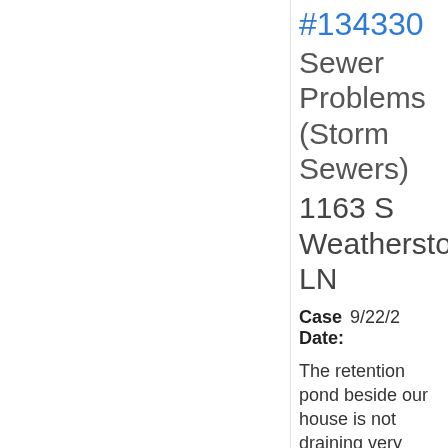#134330 Sewer Problems (Storm Sewers) 1163 S Weathersto LN
Case Date: 9/22/2
The retention pond beside our house is not draining very well. In the past 10 years soil has collected and changed the